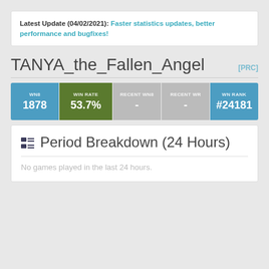Latest Update (04/02/2021): Faster statistics updates, better performance and bugfixes!
TANYA_the_Fallen_Angel [PRC]
| WN8 | Win Rate | Recent WN8 | Recent WR | WN Rank |
| --- | --- | --- | --- | --- |
| 1878 | 53.7% | - | - | #24181 |
Period Breakdown (24 Hours)
No games played in the last 24 hours.